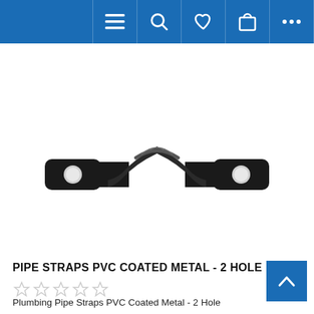Navigation bar with menu, search, favorites, cart, and more icons
[Figure (photo): A PVC coated black metal pipe strap with 2 mounting holes, one on each side, and a curved saddle at the top center for holding a pipe.]
PIPE STRAPS PVC COATED METAL - 2 HOLE
[Figure (other): Five-star rating display showing empty/unfilled stars]
Plumbing Pipe Straps PVC Coated Metal - 2 Hole